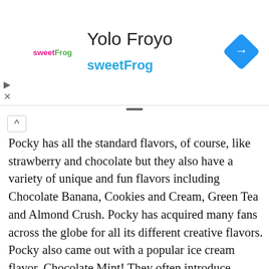[Figure (logo): sweetFrog frozen yogurt brand logo with pink and green text]
Yolo Froyo
sweetFrog
[Figure (other): Blue diamond navigation/directions icon with right-turn arrow]
Pocky has all the standard flavors, of course, like strawberry and chocolate but they also have a variety of unique and fun flavors including Chocolate Banana, Cookies and Cream, Green Tea and Almond Crush. Pocky has acquired many fans across the globe for all its different creative flavors. Pocky also came out with a popular ice cream flavor, Chocolate Mint! They often introduce limited-edition flavors for excitement. The ingredients in this flavor offer the perfect amount of cocoa to complement the mint-flavored coating. This combination of crunchy bittersweet cocoa and smooth, refreshing mint was created to have you